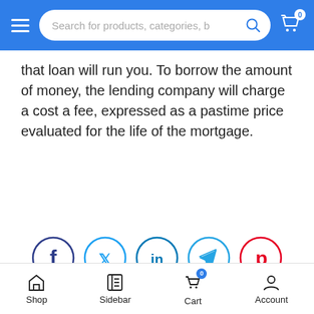Search for products, categories, b
that loan will run you. To borrow the amount of money, the lending company will charge a cost a fee, expressed as a pastime price evaluated for the life of the mortgage.
[Figure (infographic): Row of five social media share icons (circles): Facebook (dark blue), Twitter (light blue), LinkedIn (light blue), Telegram (light blue), Pinterest (red)]
Shop  Sidebar  Cart  Account